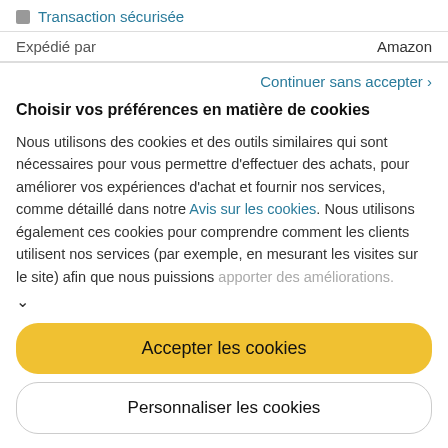Transaction sécurisée
Expédié par    Amazon
Continuer sans accepter ›
Choisir vos préférences en matière de cookies
Nous utilisons des cookies et des outils similaires qui sont nécessaires pour vous permettre d'effectuer des achats, pour améliorer vos expériences d'achat et fournir nos services, comme détaillé dans notre Avis sur les cookies. Nous utilisons également ces cookies pour comprendre comment les clients utilisent nos services (par exemple, en mesurant les visites sur le site) afin que nous puissions apporter des améliorations.
Accepter les cookies
Personnaliser les cookies